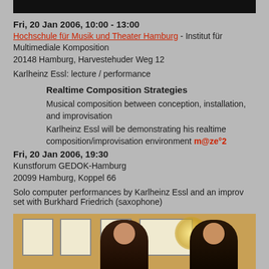[Figure (photo): Dark photo banner at top of page]
Fri, 20 Jan 2006, 10:00 - 13:00
Hochschule für Musik und Theater Hamburg - Institut für Multimediale Komposition
20148 Hamburg, Harvestehuder Weg 12
Karlheinz Essl: lecture / performance
Realtime Composition Strategies
Musical composition between conception, installation, and improvisation
Karlheinz Essl will be demonstrating his realtime composition/improvisation environment m@ze°2
Fri, 20 Jan 2006, 19:30
Kunstforum GEDOK-Hamburg
20099 Hamburg, Koppel 66
Solo computer performances by Karlheinz Essl and an improv set with Burkhard Friedrich (saxophone)
[Figure (photo): Two performers in a gallery setting with framed artwork on walls behind them]